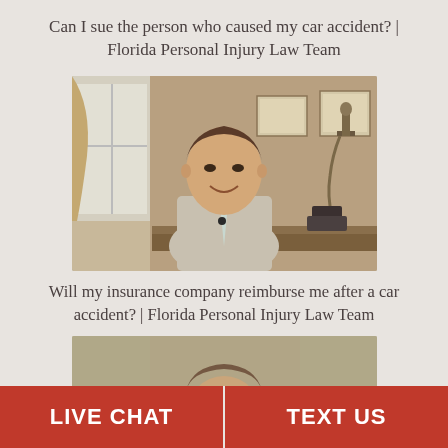Can I sue the person who caused my car accident? | Florida Personal Injury Law Team
[Figure (photo): A male attorney in a light gray suit sitting at a desk in an office, smiling at the camera. Certificates hang on the wall behind him and a Lady Justice statue is visible on the right.]
Will my insurance company reimburse me after a car accident? | Florida Personal Injury Law Team
[Figure (photo): Partial view of a male attorney, cropped at bottom of page.]
LIVE CHAT
TEXT US